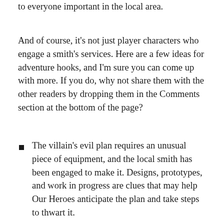to everyone important in the local area.
And of course, it’s not just player characters who engage a smith’s services. Here are a few ideas for adventure hooks, and I’m sure you can come up with more. If you do, why not share them with the other readers by dropping them in the Comments section at the bottom of the page?
The villain’s evil plan requires an unusual piece of equipment, and the local smith has been engaged to make it. Designs, prototypes, and work in progress are clues that may help Our Heroes anticipate the plan and take steps to thwart it.